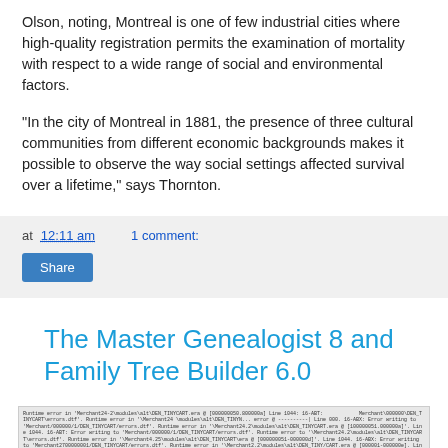Olson, noting, Montreal is one of few industrial cities where high-quality registration permits the examination of mortality with respect to a wide range of social and environmental factors.
"In the city of Montreal in 1881, the presence of three cultural communities from different economic backgrounds makes it possible to observe the way social settings affected survival over a lifetime," says Thornton.
at 12:11 am   1 comment:
Share
The Master Genealogist 8 and Family Tree Builder 6.0
[Figure (screenshot): Screenshot of a software error log or text output showing multiple lines of error messages related to Merchant, DEN_TINYCART, and similar file paths.]